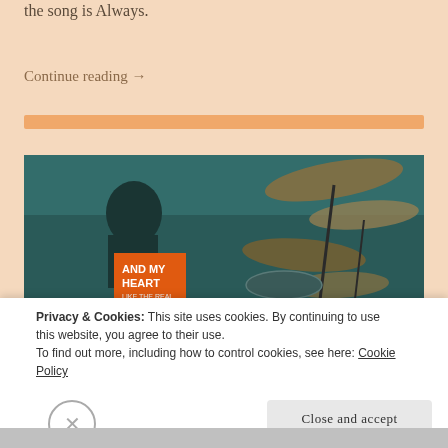the song is Always.
Continue reading →
[Figure (photo): A young person viewed from behind looking at a drum kit in a teal-toned photo. In the lower left is an orange book cover reading 'AND MY HEART LIKE THE REAL'.]
Privacy & Cookies: This site uses cookies. By continuing to use this website, you agree to their use.
To find out more, including how to control cookies, see here: Cookie Policy
Close and accept